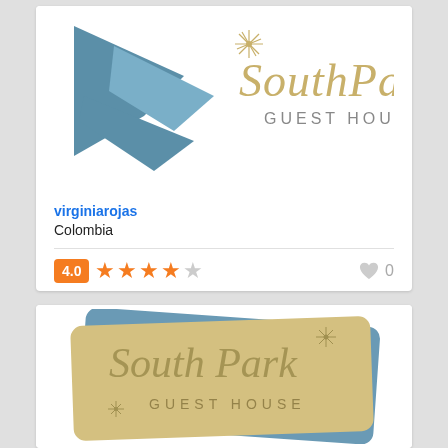[Figure (logo): South Park Guest House logo - blue arrow/chevron shapes on left with gold cursive 'SouthPark' text and 'GUEST HOUSE' subtitle on white background]
virginiarojas
Colombia
4.0  ★★★★☆   ♥ 0
[Figure (logo): South Park Guest House logo on golden/tan ticket-shaped card with blue card behind it, cursive 'South Park' text with 'Guest House' below]